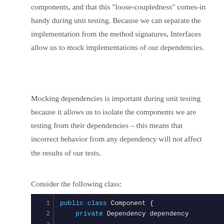components, and that this "loose-coupledness" comes-in handy during unit testing. Because we can separate the implementation from the method signatures, Interfaces allow us to mock implementations of our dependencies.
Mocking dependencies is important during unit testing because it allows us to isolate the components we are testing from their dependencies -- this means that incorrect behavior from any dependency will not affect the results of our tests.
Consider the following class:
[Figure (screenshot): Code snippet showing Java class definition with dark background. Lines 1-6 visible: public class Component { private Dependency dependency; public Component(Dependency dependen... this.dependency = dependency; }]